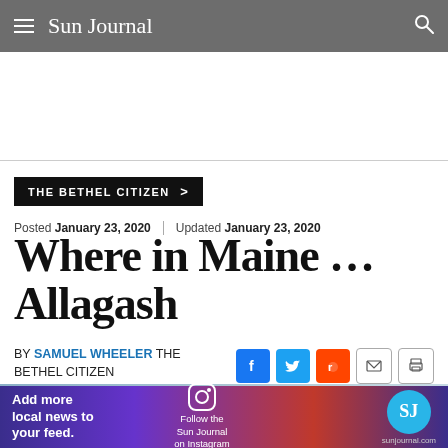Sun Journal
THE BETHEL CITIZEN >
Posted January 23, 2020 | Updated January 23, 2020
Where in Maine … Allagash
BY SAMUEL WHEELER THE BETHEL CITIZEN
[Figure (photo): Partial view of a winter landscape photo, top portion visible]
[Figure (infographic): Sun Journal advertisement banner: 'Add more local news to your feed. Follow the Sun Journal on Instagram. sunjournal.com']